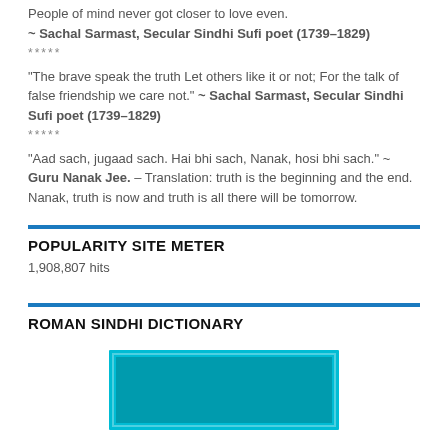People of mind never got closer to love even.
~ Sachal Sarmast, Secular Sindhi Sufi poet (1739–1829)
*****
“The brave speak the truth Let others like it or not; For the talk of false friendship we care not.” ~ Sachal Sarmast, Secular Sindhi Sufi poet (1739–1829)
*****
“Aad sach, jugaad sach. Hai bhi sach, Nanak, hosi bhi sach.” ~ Guru Nanak Jee. – Translation: truth is the beginning and the end. Nanak, truth is now and truth is all there will be tomorrow.
POPULARITY SITE METER
1,908,807 hits
ROMAN SINDHI DICTIONARY
[Figure (illustration): Teal/cyan colored rectangular book or dictionary cover image at bottom of page]